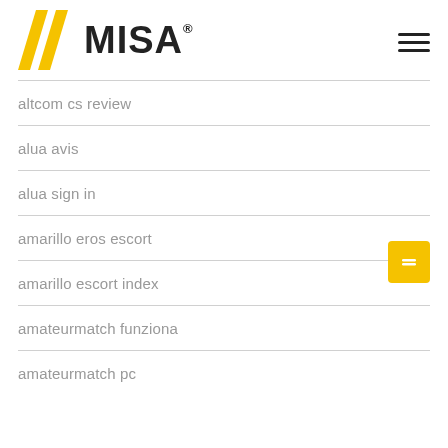[Figure (logo): MISA logo with yellow double chevron and bold MISA text with registered trademark symbol, plus hamburger menu icon]
altcom cs review
alua avis
alua sign in
amarillo eros escort
amarillo escort index
amateurmatch funziona
amateurmatch pc